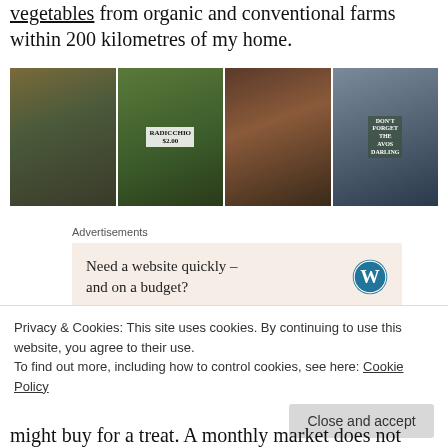vegetables from organic and conventional farms within 200 kilometres of my home.
[Figure (photo): A collage of four farmers market photos: a smiling vendor in green jacket holding produce; radicchio with a price sign; bowls of figs or dark fruit; and an outdoor market with a sign saying 'Don't forget the avos Darling'.]
Advertisements
[Figure (other): Advertisement box: Need a website quickly – and on a budget? With WordPress logo.]
I recognise how lucky I am to have such a good quality farmers market so close, on such a regular basis. I
Privacy & Cookies: This site uses cookies. By continuing to use this website, you agree to their use.
To find out more, including how to control cookies, see here: Cookie Policy
might buy for a treat. A monthly market does not